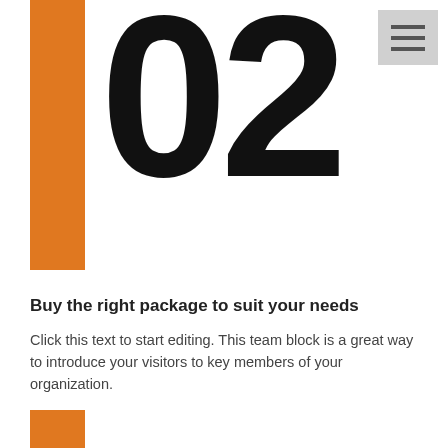[Figure (other): Large bold number '02' with orange vertical bar accent on the left, and a hamburger menu icon in the top right corner]
Buy the right package to suit your needs
Click this text to start editing. This team block is a great way to introduce your visitors to key members of your organization.
[Figure (other): Orange vertical rectangle bar, partially visible at the bottom of the page]